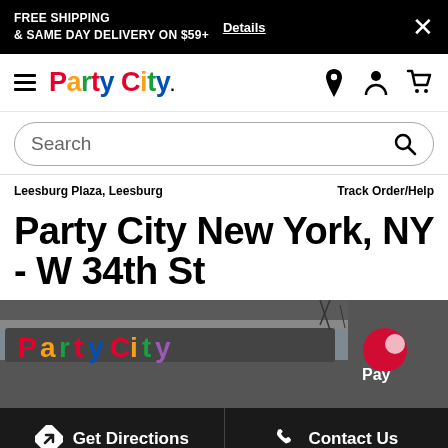FREE SHIPPING & SAME DAY DELIVERY ON $59+  Details  ×
[Figure (logo): Party City logo with colorful letters and hamburger menu icon]
Search
Leesburg Plaza, Leesburg
Track Order/Help
Party City New York, NY - W 34th St
[Figure (photo): Exterior photo of Party City store showing colorful Party City sign on building facade]
Get Directions
Contact Us